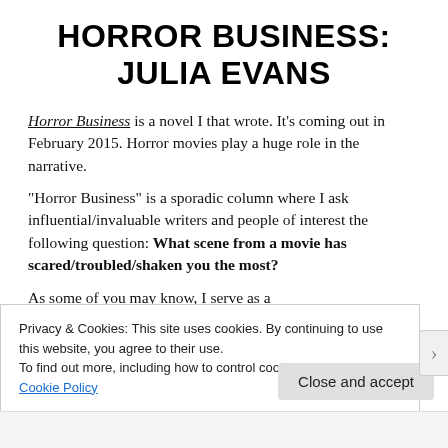HORROR BUSINESS: JULIA EVANS
Horror Business is a novel I that wrote. It’s coming out in February 2015. Horror movies play a huge role in the narrative.
“Horror Business” is a sporadic column where I ask influential/invaluable writers and people of interest the following question: What scene from a movie has scared/troubled/shaken you the most?
As some of you may know, I serve as a
Privacy & Cookies: This site uses cookies. By continuing to use this website, you agree to their use.
To find out more, including how to control cookies, see here: Cookie Policy